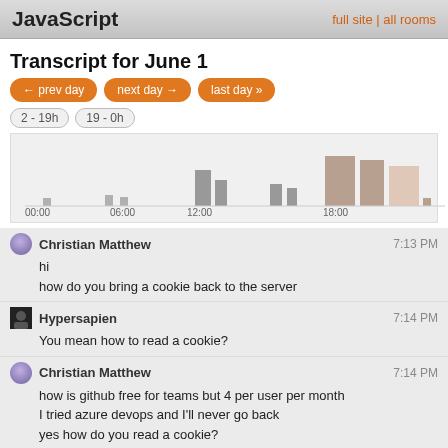JavaScript | full site | all rooms
Transcript for June 1
← prev day | next day → | last day »
2 - 19h | 19 - 0h
[Figure (bar-chart): Activity chart 00:00 to 18:00+]
Christian Matthew 7:13 PM
hi
how do you bring a cookie back to the server
Hypersapien 7:14 PM
You mean how to read a cookie?
Christian Matthew 7:14 PM
how is github free for teams but 4 per user per month
I tried azure devops and I'll never go back
yes how do you read a cookie?
from the server
Hypersapien 7:15 PM